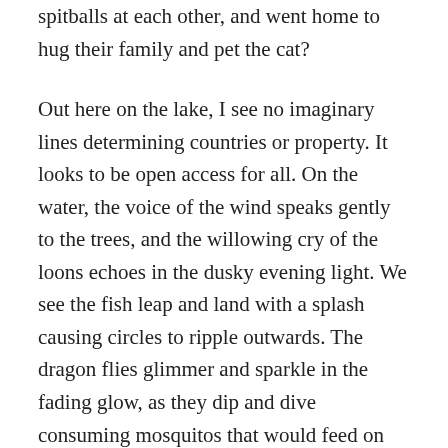spitballs at each other, and went home to hug their family and pet the cat?
Out here on the lake, I see no imaginary lines determining countries or property. It looks to be open access for all. On the water, the voice of the wind speaks gently to the trees, and the willowing cry of the loons echoes in the dusky evening light. We see the fish leap and land with a splash causing circles to ripple outwards. The dragon flies glimmer and sparkle in the fading glow, as they dip and dive consuming mosquitos that would feed on our blood. Out here there is a sense of freedom, and a definite detachment from the over populated parts of the world. As we sweep along on the wrinkles of the lake there is no phone by our hand, and no call to be judged or judge. Our hearts are open and our minds are free.  Our particular section of the world is shaded in